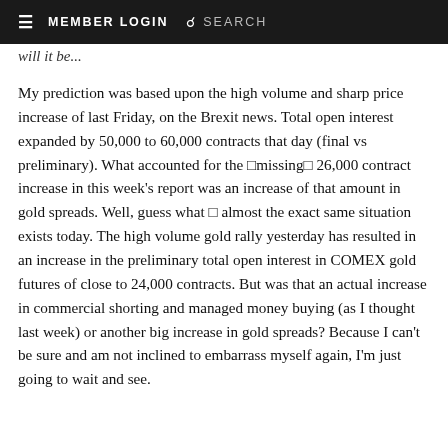≡  MEMBER LOGIN  🔍  SEARCH
will it be...
My prediction was based upon the high volume and sharp price increase of last Friday, on the Brexit news. Total open interest expanded by 50,000 to 60,000 contracts that day (final vs preliminary). What accounted for the □missing□ 26,000 contract increase in this week's report was an increase of that amount in gold spreads. Well, guess what □ almost the exact same situation exists today. The high volume gold rally yesterday has resulted in an increase in the preliminary total open interest in COMEX gold futures of close to 24,000 contracts. But was that an actual increase in commercial shorting and managed money buying (as I thought last week) or another big increase in gold spreads? Because I can't be sure and am not inclined to embarrass myself again, I'm just going to wait and see.